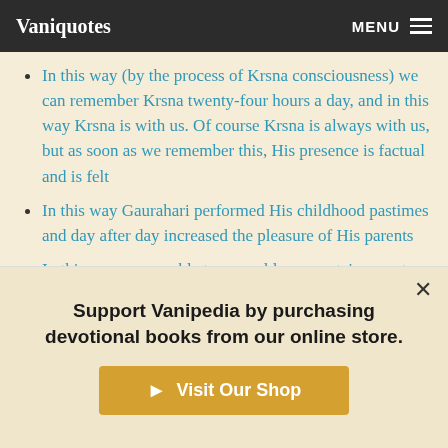Vaniquotes | MENU
In this way (by the process of Krsna consciousness) we can remember Krsna twenty-four hours a day, and in this way Krsna is with us. Of course Krsna is always with us, but as soon as we remember this, His presence is factual and is felt
In this way Gaurahari performed His childhood pastimes and day after day increased the pleasure of His parents
In this way we are able to see golden mountains, or stars during the day. The conclusion is that these are all mental concoctions, although they have actually been experienced in different circumstances. They have simply combined
Support Vanipedia by purchasing devotional books from our online store.
Visit Our Shop